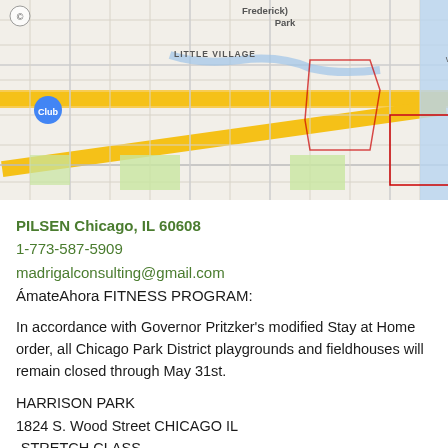[Figure (map): Google Maps view showing Chicago neighborhoods including Little Village, McKinley Park, Lower West Side, Chinatown, Douglas, and surrounding areas with streets and landmarks.]
PILSEN Chicago, IL 60608
1-773-587-5909
madrigalconsulting@gmail.com
ÁmateAhora FITNESS PROGRAM:
In accordance with Governor Pritzker's modified Stay at Home order, all Chicago Park District playgrounds and fieldhouses will remain closed through May 31st.
HARRISON PARK
1824 S. Wood Street CHICAGO IL
-STRETCH CLASS-
Mon/Lun 12:15PM
Friday/Vie 11:15AM
-STEP AEROBICS-